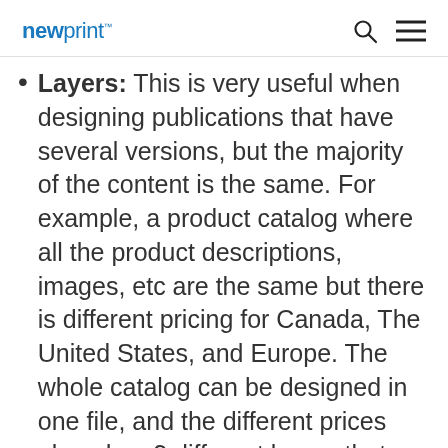newprint™
Layers: This is very useful when designing publications that have several versions, but the majority of the content is the same. For example, a product catalog where all the product descriptions, images, etc are the same but there is different pricing for Canada, The United States, and Europe. The whole catalog can be designed in one file, and the different prices placed on 3 different layers that can be shown or hidden depending on which version is being exported. This eliminates the need to maintain multiple files for the same